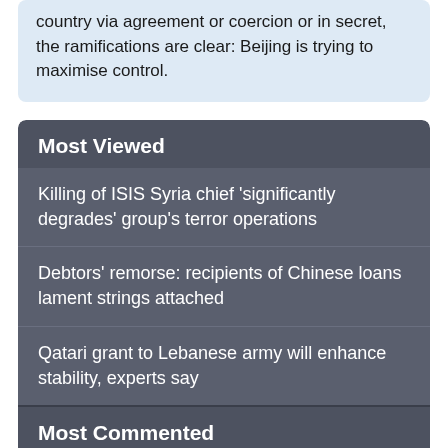country via agreement or coercion or in secret, the ramifications are clear: Beijing is trying to maximise control.
Most Viewed
Killing of ISIS Syria chief 'significantly degrades' group's terror operations
Debtors' remorse: recipients of Chinese loans lament strings attached
Qatari grant to Lebanese army will enhance stability, experts say
Most Commented
Emergency food aid saves Lebanese citizens, refugees from starvation